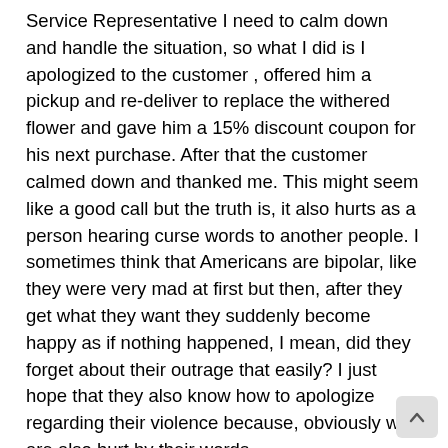Service Representative I need to calm down and handle the situation, so what I did is I apologized to the customer , offered him a pickup and re-deliver to replace the withered flower and gave him a 15% discount coupon for his next purchase. After that the customer calmed down and thanked me. This might seem like a good call but the truth is, it also hurts as a person hearing curse words to another people. I sometimes think that Americans are bipolar, like they were very mad at first but then, after they get what they want they suddenly become happy as if nothing happened, I mean, did they forget about their outrage that easily? I just hope that they also know how to apologize regarding their violence because, obviously we are also hurt by their words.
You need to be tough for this position. A Customer Service Representative will be a stress absorber from Americans who encounter problems. You also need to be able to